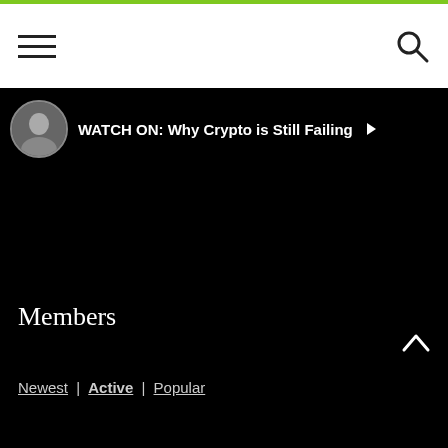[Figure (screenshot): Navigation bar with hamburger menu icon on left and search icon on right, on white background with green top bar]
WATCH ON: Why Crypto is Still Failing
[Figure (photo): Circular avatar photo of a person in a suit, partially visible]
Members
Newest | Active | Popular